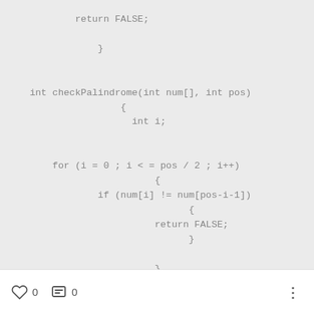[Figure (screenshot): Code snippet in monospace font on gray background showing C code: return FALSE; closing brace, then int checkPalindrome(int num[], int pos) function with for loop checking palindrome condition.]
0  0  ⋮